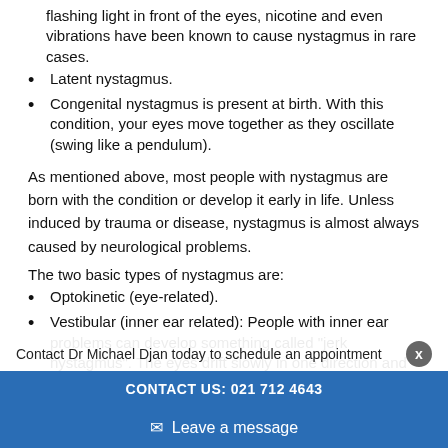flashing light in front of the eyes, nicotine and even vibrations have been known to cause nystagmus in rare cases.
Latent nystagmus.
Congenital nystagmus is present at birth. With this condition, your eyes move together as they oscillate (swing like a pendulum).
As mentioned above, most people with nystagmus are born with the condition or develop it early in life. Unless induced by trauma or disease, nystagmus is almost always caused by neurological problems.
The two basic types of nystagmus are:
Optokinetic (eye-related).
Vestibular (inner ear related): People with inner ear problems can develop something called "jerk nystagmus". The eyes drift slowly in one direction and then jerk back in the other direction. This is because of the motion of the eyes, people with this condition can develop nausea and vertigo. ... occur in people with Meniere ... or when the water settles into one ear. Tilting your head sometimes can clear up this
Contact Dr Michael Djan today to schedule an appointment
CONTACT US: 021 712 4643
✉ Leave a message